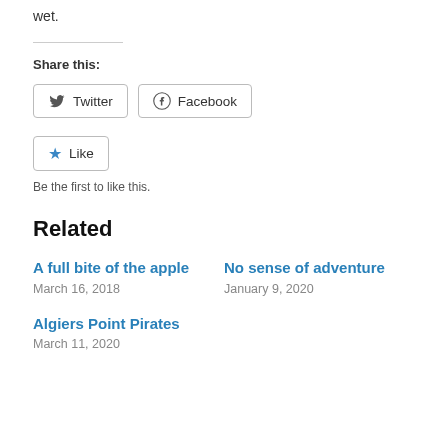wet.
Share this:
[Figure (other): Social sharing buttons: Twitter and Facebook]
[Figure (other): Like button with star icon]
Be the first to like this.
Related
A full bite of the apple
March 16, 2018
No sense of adventure
January 9, 2020
Algiers Point Pirates
March 11, 2020